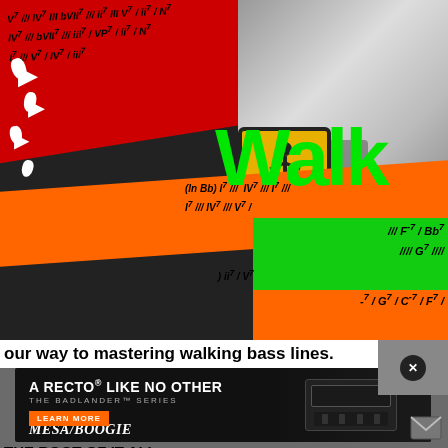[Figure (infographic): Colorful collage with red, orange, green diagonal banners showing music chord notation (I7, IV7, V7, bVII7 etc.), large 'Walk' text in green, pedestrian crossing sign, and hand holding something. Background is black with white footprint icons.]
V7 /// IV7 III bVII7 /// iii7 III V7 / ii7 / N7 IV7 /// bVII7 /// iii7 / VP7 / ii7 / N7 I7 /// V7 / IV7 / iii7 / iV7
Walk
(In Bb) I7 /// IV7 III I7 /// IV7 /// V7 /
ii7 / V7
/// F-7 / Bb7 //// G7 //// -7 / G7 / C-7 / F7 /
[Figure (photo): Video thumbnail showing a person playing electric guitar in a home studio setting with amplifiers. Dark image with a white play button overlay.]
our way to mastering walking bass lines.
[Figure (infographic): Advertisement for Mesa/Boogie Badlander Series guitar amplifier. Black background with amp image. Text: A RECTO LIKE NO OTHER, THE BADLANDER SERIES, LEARN MORE button, MESA/BOOGIE logo.]
THE ROOT OF IT ALL